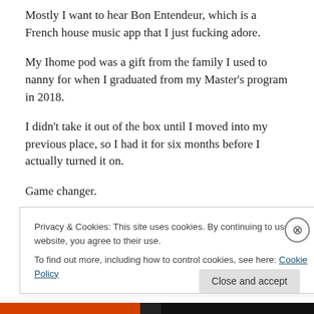Mostly I want to hear Bon Entendeur, which is a French house music app that I just fucking adore.
My Ihome pod was a gift from the family I used to nanny for when I graduated from my Master's program in 2018.
I didn't take it out of the box until I moved into my previous place, so I had it for six months before I actually turned it on.
Game changer.
I really love it.
Privacy & Cookies: This site uses cookies. By continuing to use this website, you agree to their use.
To find out more, including how to control cookies, see here: Cookie Policy